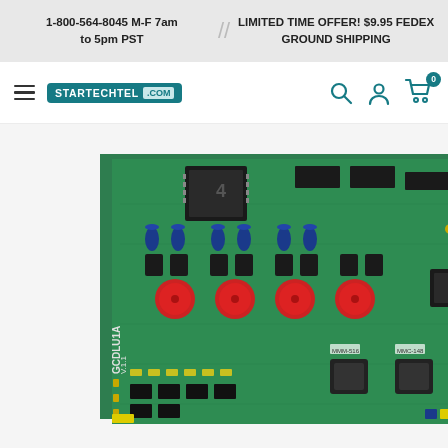1-800-564-8045 M-F 7am to 5pm PST // LIMITED TIME OFFER! $9.95 FEDEX GROUND SHIPPING
[Figure (logo): StartechTel.com logo with teal background, hamburger menu icon, and navigation icons (search, user, cart with 0 badge)]
[Figure (photo): Green circuit board (PCB) labeled GCDLU1A V.1.1, featuring multiple ICs, red capacitors, blue capacitors, transformers, and various electronic components on a green PCB substrate]